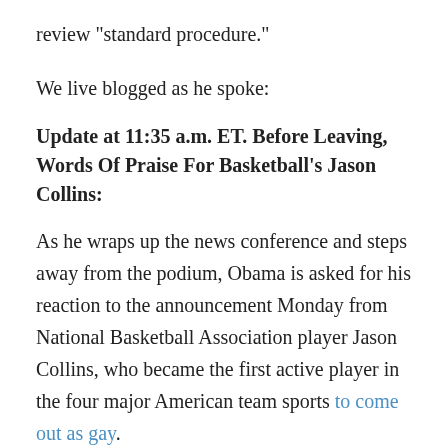review "standard procedure."
We live blogged as he spoke:
Update at 11:35 a.m. ET. Before Leaving, Words Of Praise For Basketball's Jason Collins:
As he wraps up the news conference and steps away from the podium, Obama is asked for his reaction to the announcement Monday from National Basketball Association player Jason Collins, who became the first active player in the four major American team sports to come out as gay.
Obama says he has spoken to Collins, and "I told him I couldn't be prouder of him. ... The LGBT community deserves full equality, not just partial equality."